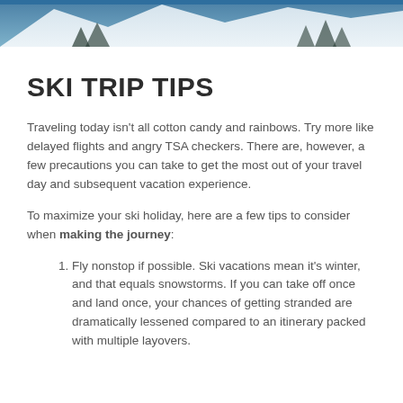[Figure (photo): Snowy mountain ski slope aerial/wide view, blue sky and white snow, dark trees visible]
SKI TRIP TIPS
Traveling today isn't all cotton candy and rainbows. Try more like delayed flights and angry TSA checkers. There are, however, a few precautions you can take to get the most out of your travel day and subsequent vacation experience.
To maximize your ski holiday, here are a few tips to consider when making the journey:
Fly nonstop if possible. Ski vacations mean it's winter, and that equals snowstorms. If you can take off once and land once, your chances of getting stranded are dramatically lessened compared to an itinerary packed with multiple layovers.